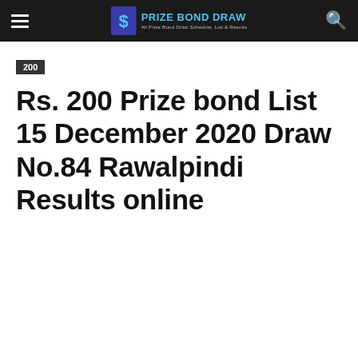PRIZE BOND DRAW — All Prize Bond Draw Schedule, List & Results
200
Rs. 200 Prize bond List 15 December 2020 Draw No.84 Rawalpindi Results online